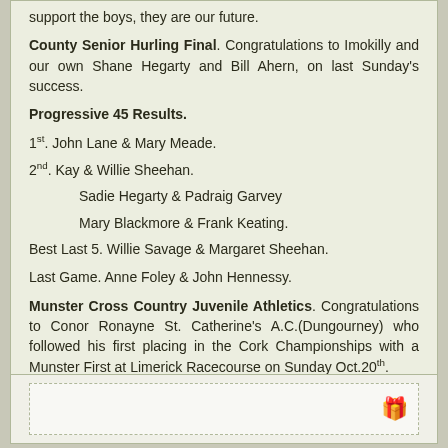support the boys, they are our future.
County Senior Hurling Final. Congratulations to Imokilly and our own Shane Hegarty and Bill Ahern, on last Sunday's success.
Progressive 45 Results.
1st. John Lane & Mary Meade.
2nd. Kay & Willie Sheehan.
Sadie Hegarty & Padraig Garvey
Mary Blackmore & Frank Keating.
Best Last 5. Willie Savage & Margaret Sheehan.
Last Game. Anne Foley & John Hennessy.
Munster Cross Country Juvenile Athletics. Congratulations to Conor Ronayne St. Catherine's A.C.(Dungourney) who followed his first placing in the Cork Championships with a Munster First at Limerick Racecourse on Sunday Oct.20th.
[Figure (other): Bottom box with dashed inner border and gift icon]